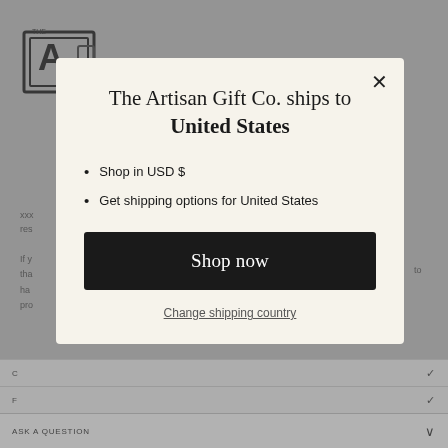[Figure (screenshot): Background of a web page showing The Artisan Gift Co. website with logo, partial text content, and accordion FAQ sections, dimmed behind a modal overlay.]
The Artisan Gift Co. ships to United States
Shop in USD $
Get shipping options for United States
Shop now
Change shipping country